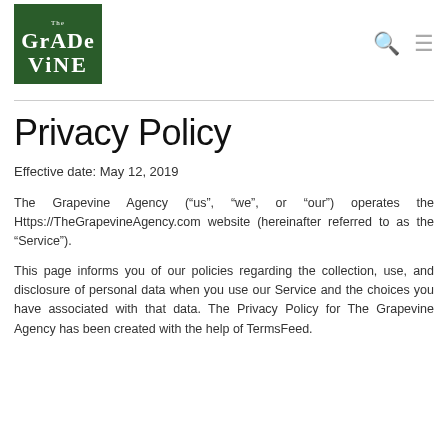[Figure (logo): The Grapevine Agency logo — dark green square with white serif text reading 'The GrapeVine']
Privacy Policy
Effective date: May 12, 2019
The Grapevine Agency (“us”, “we”, or “our”) operates the Https://TheGrapevineAgency.com website (hereinafter referred to as the “Service”).
This page informs you of our policies regarding the collection, use, and disclosure of personal data when you use our Service and the choices you have associated with that data. The Privacy Policy for The Grapevine Agency has been created with the help of TermsFeed.